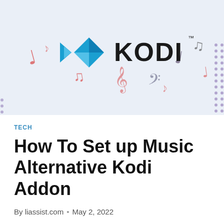[Figure (illustration): Hero banner image showing the Kodi logo (blue geometric diamond/arrow icon and 'KODI' text in black) on a light blue-gray background with scattered red/pink music notes symbols decorating the background. Purple dot pattern visible on the right edge.]
TECH
How To Set up Music Alternative Kodi Addon
By liassist.com • May 2, 2022